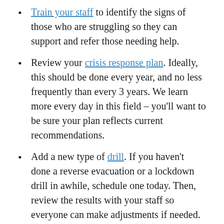Train your staff to identify the signs of those who are struggling so they can support and refer those needing help.
Review your crisis response plan. Ideally, this should be done every year, and no less frequently than every 3 years. We learn more every day in this field – you'll want to be sure your plan reflects current recommendations.
Add a new type of drill. If you haven't done a reverse evacuation or a lockdown drill in awhile, schedule one today. Then, review the results with your staff so everyone can make adjustments if needed.
I'd love to know more about your specific safety challenges and needs. Let me know by